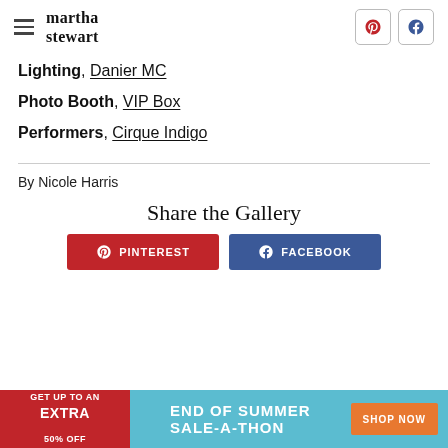martha stewart
Lighting, Danier MC
Photo Booth, VIP Box
Performers, Cirque Indigo
By Nicole Harris
Share the Gallery
[Figure (infographic): Pinterest and Facebook share buttons]
[Figure (infographic): End of Summer Sale-A-Thon advertisement banner: GET UP TO AN EXTRA 50% OFF, END OF SUMMER SALE-A-THON, SHOP NOW]